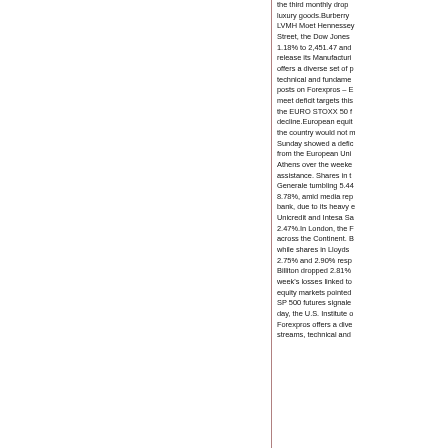the third monthly drop luxury goods.Burberry LVMH Moet Hennessey Street, the Dow Jones 1.18% to 2,451.47 and release its Manufacturing offers a diverse set of p technical and fundame posts on Forexpros – E meet deficit targets this the EURO STOXX 50 f decline.European equit the country would not m Sunday showed a defic from the European Uni Athens over the weeke assistance. Shares in t Generale tumbling 5.44 8.78%, amid media rep bank, due to its heavy e Unicredit and Intesa Sa 2.47%.In London, the F across the Continent. B while shares in Lloyds 2.75% and 2.90% resp Billiton dropped 2.81% week's losses linked to equity markets pointed SP 500 futures signale day, the U.S. Institute o Forexpros offers a dive streams, technical and